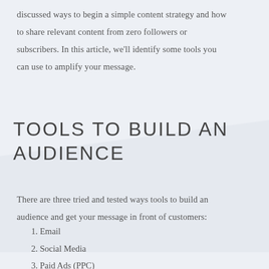discussed ways to begin a simple content strategy and how to share relevant content from zero followers or subscribers. In this article, we'll identify some tools you can use to amplify your message.
TOOLS TO BUILD AN AUDIENCE
There are three tried and tested ways tools to build an audience and get your message in front of customers:
1. Email
2. Social Media
3. Paid Ads (PPC)